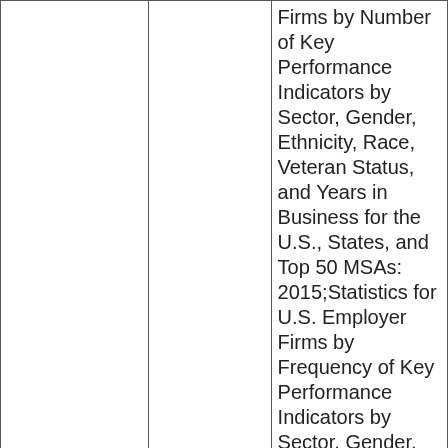|  |  | Firms by Number of Key Performance Indicators by Sector, Gender, Ethnicity, Race, Veteran Status, and Years in Business for the U.S., States, and Top 50 MSAs: 2015;Statistics for U.S. Employer Firms by Frequency of Key Performance Indicators by Sector, Gender, Ethnicity, Race, Veteran Status, and Years in Business for the U.S., States, and Top 50 MSAs: 2015;Statistics for |